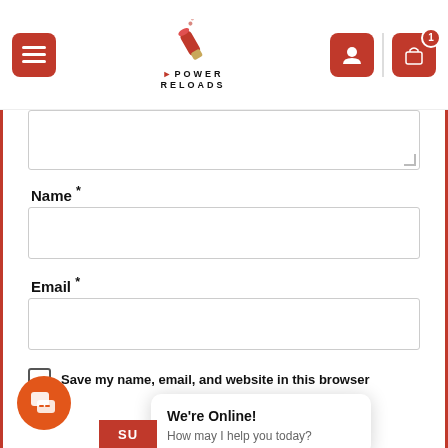Power Reloads - website header with menu, logo, user icon, and cart icon
[Figure (screenshot): Partially visible textarea input box at top of form]
Name *
[Figure (screenshot): Name input text field]
Email *
[Figure (screenshot): Email input text field]
Save my name, email, and website in this browser
r the
We're Online! How may I help you today?
SU